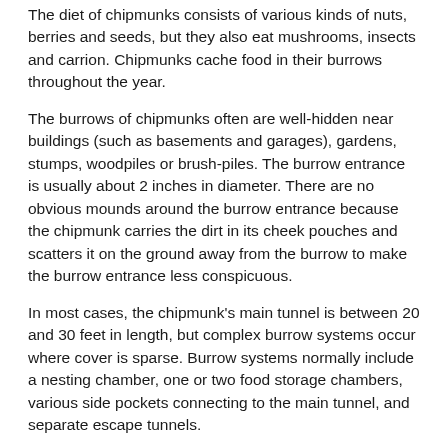The diet of chipmunks consists of various kinds of nuts, berries and seeds, but they also eat mushrooms, insects and carrion. Chipmunks cache food in their burrows throughout the year.
The burrows of chipmunks often are well-hidden near buildings (such as basements and garages), gardens, stumps, woodpiles or brush-piles. The burrow entrance is usually about 2 inches in diameter. There are no obvious mounds around the burrow entrance because the chipmunk carries the dirt in its cheek pouches and scatters it on the ground away from the burrow to make the burrow entrance less conspicuous.
In most cases, the chipmunk's main tunnel is between 20 and 30 feet in length, but complex burrow systems occur where cover is sparse. Burrow systems normally include a nesting chamber, one or two food storage chambers, various side pockets connecting to the main tunnel, and separate escape tunnels.